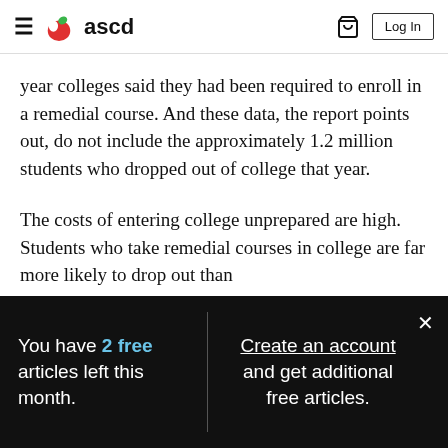ascd — Log In
year colleges said they had been required to enroll in a remedial course. And these data, the report points out, do not include the approximately 1.2 million students who dropped out of college that year.
The costs of entering college unprepared are high. Students who take remedial courses in college are far more likely to drop out than
You have 2 free articles left this month.
Create an account and get additional free articles.